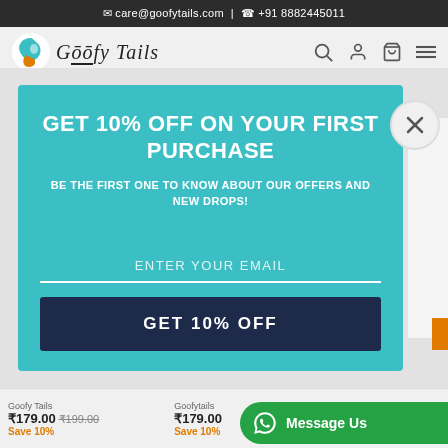✉ care@goofytails.com | ☎ +91 8882445011
[Figure (screenshot): Goofy Tails logo with teal and orange swirl graphic and italic serif brand name]
[Figure (infographic): Popup modal on teal background with headline GET 10% OFF ON YOUR FIRST PURCHASE, subtext BE THE FIRST ONE TO KNOW ABOUT OUR OFFERS AND NEW DROPS!, email input field, and dark navy GET 10% OFF button. Close button (X) in top-right. Background shows blurred product listing with prices ₹179.00 ₹199.00 Save 10%, ₹179.00 Save 10%, and partial Goofy Tails store names.]
[Figure (screenshot): Green WhatsApp Message Us button at bottom right]